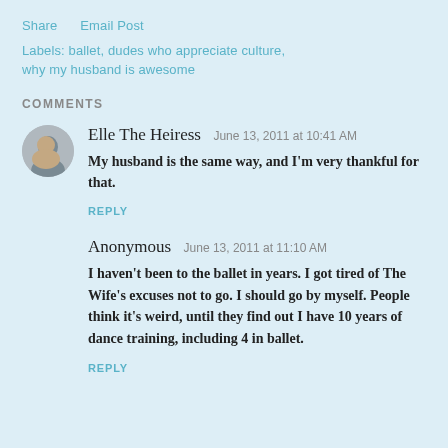Share    Email Post
Labels: ballet, dudes who appreciate culture,
why my husband is awesome
COMMENTS
Elle The Heiress  June 13, 2011 at 10:41 AM
My husband is the same way, and I'm very thankful for that.
REPLY
Anonymous  June 13, 2011 at 11:10 AM
I haven't been to the ballet in years. I got tired of The Wife's excuses not to go. I should go by myself. People think it's weird, until they find out I have 10 years of dance training, including 4 in ballet.
REPLY